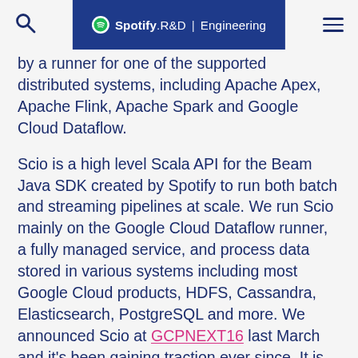Spotify R&D | Engineering
by a runner for one of the supported distributed systems, including Apache Apex, Apache Flink, Apache Spark and Google Cloud Dataflow.
Scio is a high level Scala API for the Beam Java SDK created by Spotify to run both batch and streaming pipelines at scale. We run Scio mainly on the Google Cloud Dataflow runner, a fully managed service, and process data stored in various systems including most Google Cloud products, HDFS, Cassandra, Elasticsearch, PostgreSQL and more. We announced Scio at GCPNEXT16 last March and it's been gaining traction ever since. It is now the preferred data processing framework within Spotify and has gained many external users and open source contributors.